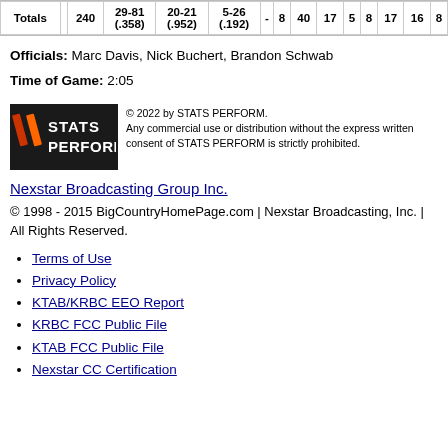| Totals |  | 240 | 29-81 (.358) | 20-21 (.952) | 5-26 (.192) | - | 8 | 40 | 17 | 5 | 8 | 17 | 16 | 8 |
| --- | --- | --- | --- | --- | --- | --- | --- | --- | --- | --- | --- | --- | --- | --- |
Officials: Marc Davis, Nick Buchert, Brandon Schwab
Time of Game: 2:05
[Figure (logo): STATS PERFORM logo with copyright notice: © 2022 by STATS PERFORM. Any commercial use or distribution without the express written consent of STATS PERFORM is strictly prohibited.]
Nexstar Broadcasting Group Inc.
© 1998 - 2015 BigCountryHomePage.com | Nexstar Broadcasting, Inc. | All Rights Reserved.
Terms of Use
Privacy Policy
KTAB/KRBC EEO Report
KRBC FCC Public File
KTAB FCC Public File
Nexstar CC Certification